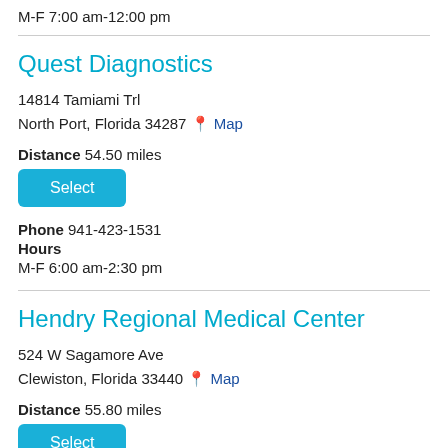M-F 7:00 am-12:00 pm
Quest Diagnostics
14814 Tamiami Trl
North Port, Florida 34287 Map
Distance 54.50 miles
Select
Phone 941-423-1531
Hours
M-F 6:00 am-2:30 pm
Hendry Regional Medical Center
524 W Sagamore Ave
Clewiston, Florida 33440 Map
Distance 55.80 miles
Select